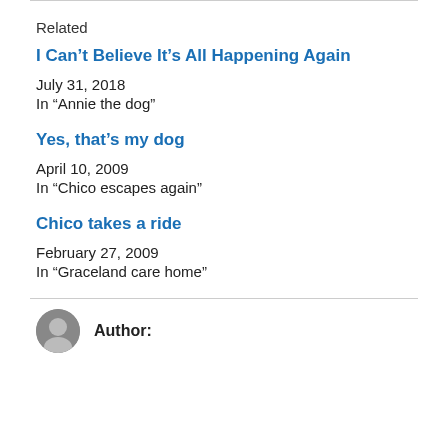Related
I Can’t Believe It’s All Happening Again
July 31, 2018
In "Annie the dog"
Yes, that’s my dog
April 10, 2009
In "Chico escapes again"
Chico takes a ride
February 27, 2009
In "Graceland care home"
Author: